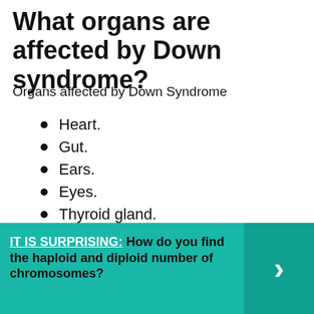What organs are affected by Down syndrome?
Organs affected by Down Syndrome
Heart.
Gut.
Ears.
Eyes.
Thyroid gland.
Brain.
Spine.
Miscellaneous.
IT IS SURPRISING:  How do you find the haploid and diploid number of chromosomes?